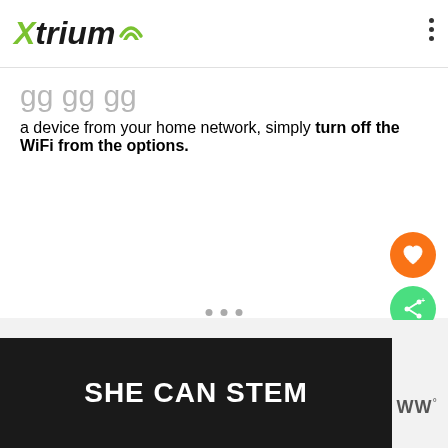Xtrium
a device from your home network, simply turn off the WiFi from the options.
[Figure (screenshot): Orange circular like/heart button and green circular share button on the right side of the screen]
[Figure (screenshot): Advertisement banner with dark background showing 'SHE CAN STEM' text and WW logo]